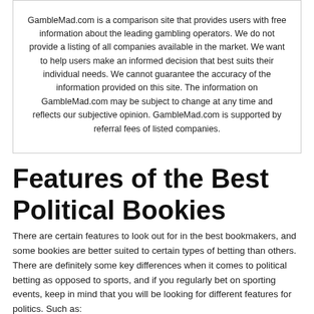GambleMad.com is a comparison site that provides users with free information about the leading gambling operators. We do not provide a listing of all companies available in the market. We want to help users make an informed decision that best suits their individual needs. We cannot guarantee the accuracy of the information provided on this site. The information on GambleMad.com may be subject to change at any time and reflects our subjective opinion. GambleMad.com is supported by referral fees of listed companies.
Features of the Best Political Bookies
There are certain features to look out for in the best bookmakers, and some bookies are better suited to certain types of betting than others. There are definitely some key differences when it comes to political betting as opposed to sports, and if you regularly bet on sporting events, keep in mind that you will be looking for different features for politics. Such as:
- Coverage of political events and markets. This is an absolutely huge factor to consider when choosing the best bookmaker websites for betting on politics. Frankly, some of them do not focus on political markets whatsoever. Others will allow you to vote on leadership contests, by-elections, general elections and much more. The number of markets will be a crucial factor with political bookmakers.